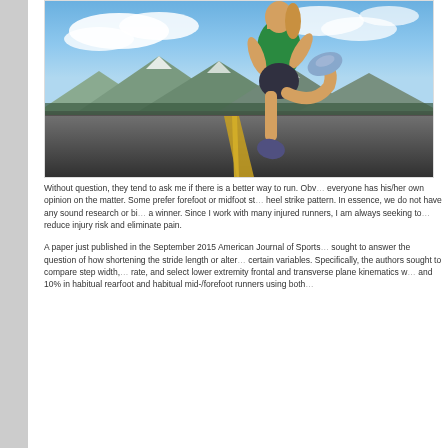[Figure (photo): A female runner in a green top and black shorts running on a road with mountains and a blue sky in the background, photographed from behind and slightly to the side.]
Without question, they tend to ask me if there is a better way to run.  Obviously, everyone has his/her own opinion on the matter.  Some prefer forefoot or midfoot strike over the heel strike pattern.  In essence, we do not have any sound research or biomechanics to pick a winner.  Since I work with many injured runners, I am always seeking to reduce injury risk and eliminate pain.
A paper just published in the September 2015 American Journal of Sports Medicine sought to answer the question of how shortening the stride length or altering certain variables.  Specifically, the authors sought to compare step width, rate, and select lower extremity frontal and transverse plane kinematics with and 10% in habitual rearfoot and habitual mid-/forefoot runners using both